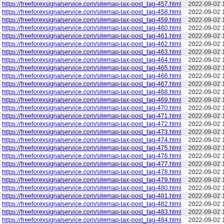| https://freeforexsignalservice.com/sitemap-tax-post_tag-457.html | 2022-09-02 12:22 |
| https://freeforexsignalservice.com/sitemap-tax-post_tag-458.html | 2022-09-02 12:22 |
| https://freeforexsignalservice.com/sitemap-tax-post_tag-459.html | 2022-09-02 12:22 |
| https://freeforexsignalservice.com/sitemap-tax-post_tag-460.html | 2022-09-02 12:22 |
| https://freeforexsignalservice.com/sitemap-tax-post_tag-461.html | 2022-09-02 12:22 |
| https://freeforexsignalservice.com/sitemap-tax-post_tag-462.html | 2022-09-02 12:22 |
| https://freeforexsignalservice.com/sitemap-tax-post_tag-463.html | 2022-09-02 12:22 |
| https://freeforexsignalservice.com/sitemap-tax-post_tag-464.html | 2022-09-02 12:22 |
| https://freeforexsignalservice.com/sitemap-tax-post_tag-465.html | 2022-09-02 12:22 |
| https://freeforexsignalservice.com/sitemap-tax-post_tag-466.html | 2022-09-02 12:22 |
| https://freeforexsignalservice.com/sitemap-tax-post_tag-467.html | 2022-09-02 12:22 |
| https://freeforexsignalservice.com/sitemap-tax-post_tag-468.html | 2022-09-02 12:22 |
| https://freeforexsignalservice.com/sitemap-tax-post_tag-469.html | 2022-09-02 12:22 |
| https://freeforexsignalservice.com/sitemap-tax-post_tag-470.html | 2022-09-02 12:22 |
| https://freeforexsignalservice.com/sitemap-tax-post_tag-471.html | 2022-09-02 12:22 |
| https://freeforexsignalservice.com/sitemap-tax-post_tag-472.html | 2022-09-02 12:22 |
| https://freeforexsignalservice.com/sitemap-tax-post_tag-473.html | 2022-09-02 12:22 |
| https://freeforexsignalservice.com/sitemap-tax-post_tag-474.html | 2022-09-02 12:22 |
| https://freeforexsignalservice.com/sitemap-tax-post_tag-475.html | 2022-09-02 12:22 |
| https://freeforexsignalservice.com/sitemap-tax-post_tag-476.html | 2022-09-02 12:22 |
| https://freeforexsignalservice.com/sitemap-tax-post_tag-477.html | 2022-09-02 12:22 |
| https://freeforexsignalservice.com/sitemap-tax-post_tag-478.html | 2022-09-02 12:22 |
| https://freeforexsignalservice.com/sitemap-tax-post_tag-479.html | 2022-09-02 12:22 |
| https://freeforexsignalservice.com/sitemap-tax-post_tag-480.html | 2022-09-02 12:22 |
| https://freeforexsignalservice.com/sitemap-tax-post_tag-481.html | 2022-09-02 12:22 |
| https://freeforexsignalservice.com/sitemap-tax-post_tag-482.html | 2022-09-02 12:22 |
| https://freeforexsignalservice.com/sitemap-tax-post_tag-483.html | 2022-09-02 12:22 |
| https://freeforexsignalservice.com/sitemap-tax-post_tag-484.html | 2022-09-02 12:22 |